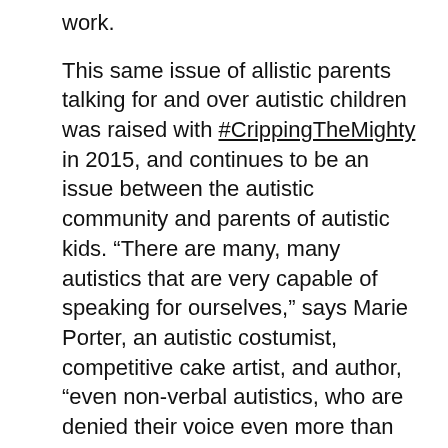work.
This same issue of allistic parents talking for and over autistic children was raised with #CrippingTheMighty in 2015, and continues to be an issue between the autistic community and parents of autistic kids. “There are many, many autistics that are very capable of speaking for ourselves,” says Marie Porter, an autistic costumist, competitive cake artist, and author, “even non-verbal autistics, who are denied their voice even more than the rest of us.”
“They [allistic people] frame everything to do with us in the context of how it affects them, dominating autistic spaces and discussions with neurotypical perspectives and constantly pushing down our voices in order to further